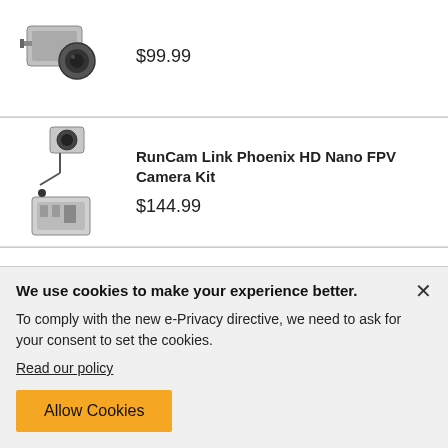[Figure (photo): Small FPV camera with ND 10 filter, partial view at top]
$99.99
[Figure (photo): RunCam Link Phoenix HD Nano FPV Camera Kit product photo]
RunCam Link Phoenix HD Nano FPV Camera Kit
$144.99
[Figure (photo): Fat Shark Dominator Digital HD FPV Goggles product photo]
Fat Shark Dominator Digital HD FPV Goggles
We use cookies to make your experience better.
To comply with the new e-Privacy directive, we need to ask for your consent to set the cookies.
Read our policy
Allow Cookies